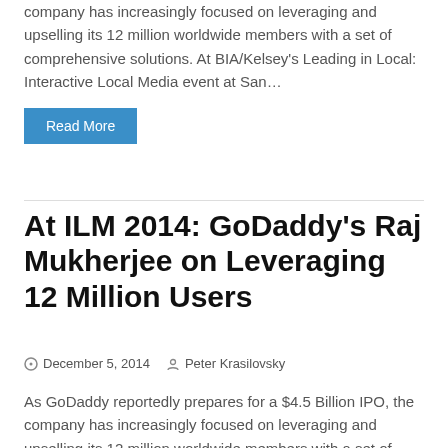company has increasingly focused on leveraging and upselling its 12 million worldwide members with a set of comprehensive solutions. At BIA/Kelsey's Leading in Local: Interactive Local Media event at San…
Read More
At ILM 2014: GoDaddy's Raj Mukherjee on Leveraging 12 Million Users
December 5, 2014   Peter Krasilovsky
As GoDaddy reportedly prepares for a $4.5 Billion IPO, the company has increasingly focused on leveraging and upselling its 12 million worldwide members with a set of comprehensive solutions. At BIA/Kelsey's Leading in Local: Interactive Local Media event at San…